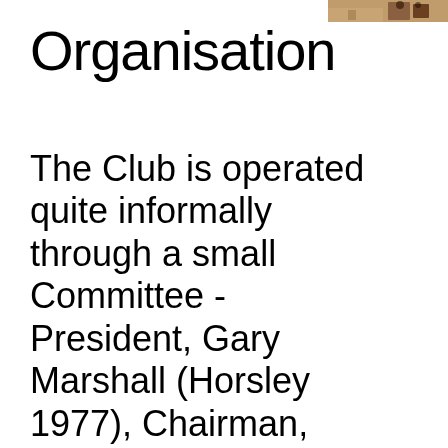[Figure (photo): Small photograph in top-right corner, partially visible, showing people or figures in an indoor setting with warm tones]
Organisation
The Club is operated quite informally through a small Committee - President, Gary Marshall (Horsley 1977), Chairman, Owen Dearn (Webster 2012), Treasurer